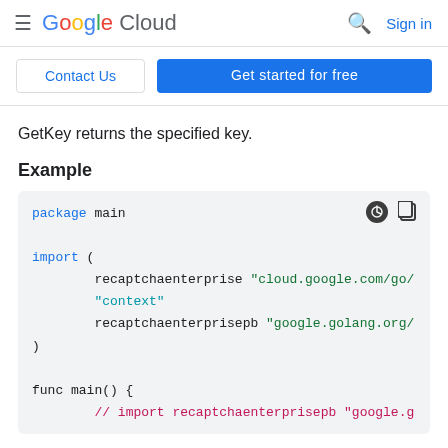Google Cloud  Sign in
Contact Us  Get started for free
GetKey returns the specified key.
Example
[Figure (screenshot): Go code block showing package main with import of recaptchaenterprise and context packages, and func main() with a comment about importing recaptchaenterprisepb]